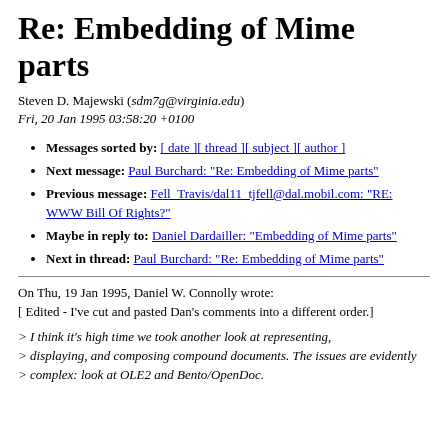Re: Embedding of Mime parts
Steven D. Majewski (sdm7g@virginia.edu)
Fri, 20 Jan 1995 03:58:20 +0100
Messages sorted by: [ date ][ thread ][ subject ][ author ]
Next message: Paul Burchard: "Re: Embedding of Mime parts"
Previous message: Fell_Travis/dal11_tjfell@dal.mobil.com: "RE: WWW Bill Of Rights?"
Maybe in reply to: Daniel Dardailler: "Embedding of Mime parts"
Next in thread: Paul Burchard: "Re: Embedding of Mime parts"
On Thu, 19 Jan 1995, Daniel W. Connolly wrote:
[ Edited - I've cut and pasted Dan's comments into a different order.]
> I think it's high time we took another look at representing, displaying, and composing compound documents. The issues are evidently
> complex: look at OLE2 and Bento/OpenDoc.